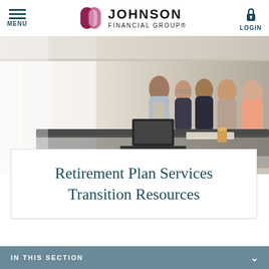MENU | Johnson Financial Group® | LOGIN
[Figure (photo): Group of professionals gathered around a table with a laptop in a modern office setting with large windows]
Retirement Plan Services Transition Resources
IN THIS SECTION